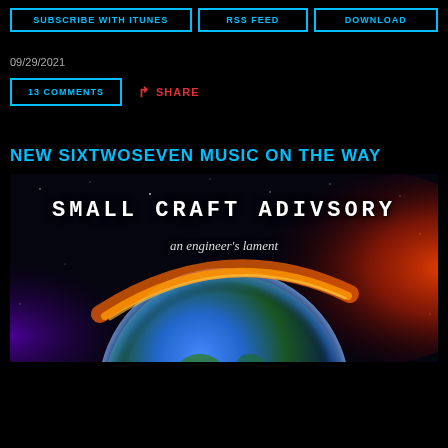SUBSCRIBE WITH ITUNES | RSS FEED | DOWNLOAD
09/29/2021
13 COMMENTS | SHARE
NEW SIXTWOSEVEN MUSIC ON THE WAY
[Figure (illustration): Album cover artwork: 'SMALL CRAFT ADIVSORY – an engineer's lament' with space/earth imagery showing a planet with glowing atmosphere against a dark starfield background]